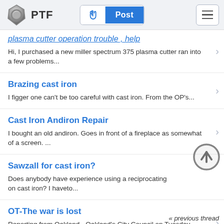PTF | Post
plasma cutter operation trouble , help
Hi, I purchased a new miller spectrum 375 plasma cutter ran into a few problems...
Brazing cast iron
I figger one can't be too careful with cast iron. From the OP's...
Cast Iron Andiron Repair
I bought an old andiron. Goes in front of a fireplace as somewhat of a screen. ...
Sawzall for cast iron?
Does anybody have experience using a reciprocating on cast iron? I haveto...
OT-The war is lost
Reporting from Oakland - Oakland's City Council on Tuesday approved an ordinance...
« previous thread